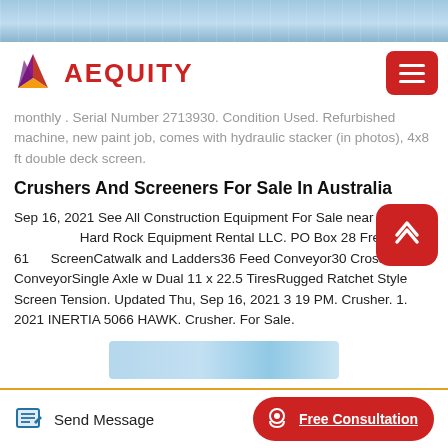[Figure (photo): Top banner with construction/city background image in blue tones]
AEQUITY — logo and navigation header with hamburger menu button
monthly . Serial Number 2713930. Condition Used. Refurbished machine, new paint job, comes with hydraulic stacker (in photos), 4x8 ft double deck screen.
Crushers And Screeners For Sale In Australia
Sep 16, 2021 See All Construction Equipment For Sale near Hard Rock Equipment Rental LLC. PO Box 28 Freeport, IL 61 ScreenCatwalk and Ladders36 Feed Conveyor30 Cross ConveyorSingle Axle w Dual 11 x 22.5 TiresRugged Ratchet Style Screen Tension. Updated Thu, Sep 16, 2021 3 19 PM. Crusher. 1. 2021 INERTIA 5066 HAWK. Crusher. For Sale.
[Figure (photo): Blurred blue image placeholder at bottom of content]
Send Message | Free Consultation